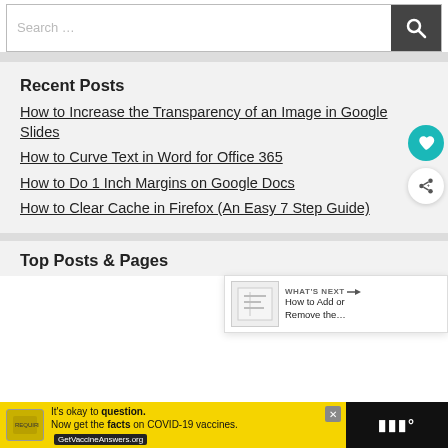[Figure (screenshot): Search bar with text 'Search ...' and a dark search button with magnifying glass icon]
Recent Posts
How to Increase the Transparency of an Image in Google Slides
How to Curve Text in Word for Office 365
How to Do 1 Inch Margins on Google Docs
How to Clear Cache in Firefox (An Easy 7 Step Guide)
[Figure (screenshot): WHAT'S NEXT arrow button with thumbnail image and text: How to Add or Remove the...]
Top Posts & Pages
[Figure (screenshot): Advertisement banner: It's okay to question. Now get the facts on COVID-19 vaccines. GetVaccineAnswers.org, with close button and dark right panel with 'W°' logo]